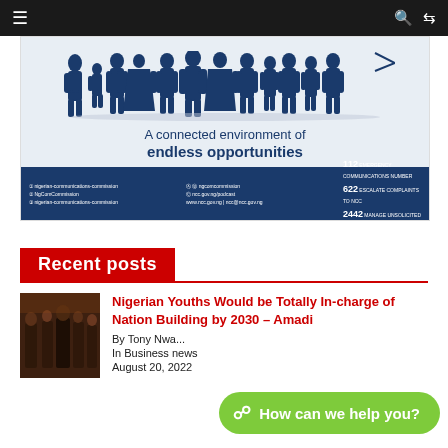Navigation bar with hamburger menu, search and shuffle icons
[Figure (infographic): NCC (Nigerian Communications Commission) advertisement banner showing silhouettes of people with text 'A connected environment of endless opportunities' and contact information including social media handles, website www.ncc.gov.ng, emergency number 112, complaints number 622, and 2442 for unsolicited communications]
Recent posts
[Figure (photo): Thumbnail photo of a group of people standing together indoors]
Nigerian Youths Would be Totally In-charge of Nation Building by 2030 – Amadi
By Tony Nwa...
In Business news
August 20, 2022
How can we help you?